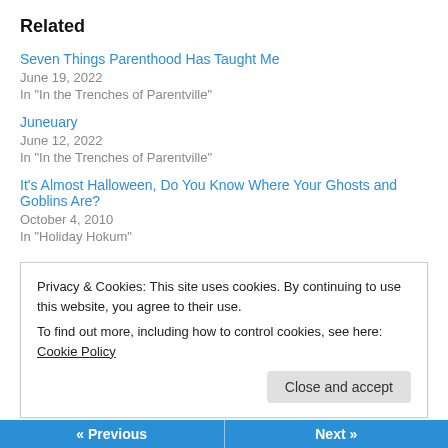Related
Seven Things Parenthood Has Taught Me
June 19, 2022
In "In the Trenches of Parentville"
Juneuary
June 12, 2022
In "In the Trenches of Parentville"
It's Almost Halloween, Do You Know Where Your Ghosts and Goblins Are?
October 4, 2010
In "Holiday Hokum"
Privacy & Cookies: This site uses cookies. By continuing to use this website, you agree to their use.
To find out more, including how to control cookies, see here: Cookie Policy
Close and accept
« Previous   Next »